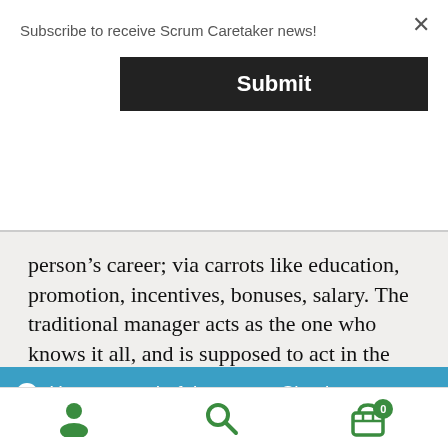Subscribe to receive Scrum Caretaker news!
Submit
person's career; via carrots like education, promotion, incentives, bonuses, salary. The traditional manager acts as the one who knows it all, and is supposed to act in the best interest of the company and its shareholders, even if that interest is obscured from the people assigned with
Have a wonderful summer. Check out some summer reading inspiration! Dismiss
[Figure (screenshot): Bottom navigation bar with user, search, and cart icons in green]